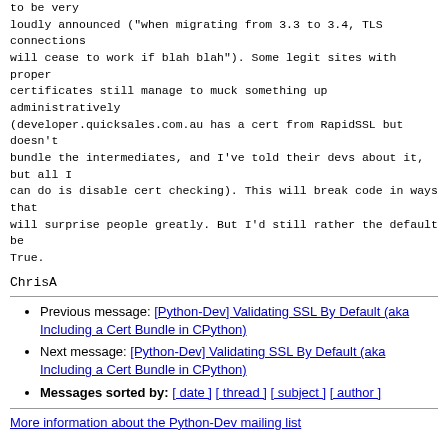to be very
loudly announced ("when migrating from 3.3 to 3.4, TLS connections
will cease to work if blah blah"). Some legit sites with proper
certificates still manage to muck something up administratively
(developer.quicksales.com.au has a cert from RapidSSL but doesn't
bundle the intermediates, and I've told their devs about it, but all I
can do is disable cert checking). This will break code in ways that
will surprise people greatly. But I'd still rather the default be
True.
ChrisA
Previous message: [Python-Dev] Validating SSL By Default (aka Including a Cert Bundle in CPython)
Next message: [Python-Dev] Validating SSL By Default (aka Including a Cert Bundle in CPython)
Messages sorted by: [ date ] [ thread ] [ subject ] [ author ]
More information about the Python-Dev mailing list